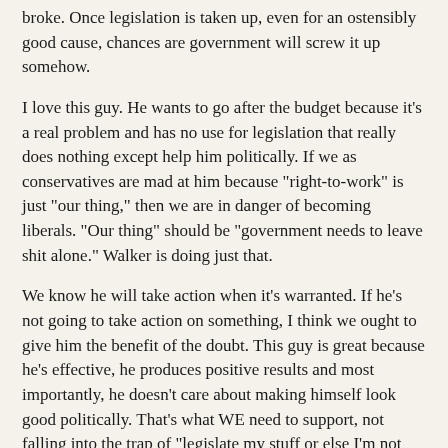broke. Once legislation is taken up, even for an ostensibly good cause, chances are government will screw it up somehow.
I love this guy. He wants to go after the budget because it's a real problem and has no use for legislation that really does nothing except help him politically. If we as conservatives are mad at him because "right-to-work" is just "our thing," then we are in danger of becoming liberals. "Our thing" should be "government needs to leave shit alone." Walker is doing just that.
We know he will take action when it's warranted. If he's not going to take action on something, I think we ought to give him the benefit of the doubt. This guy is great because he's effective, he produces positive results and most importantly, he doesn't care about making himself look good politically. That's what WE need to support, not falling into the trap of "legislate my stuff or else I'm not supporting you!"
If it changes nothing and simply adds another law on the books, what the hell good is making Wisconsin the 25th right-to-work state? So we can hit the number 25?